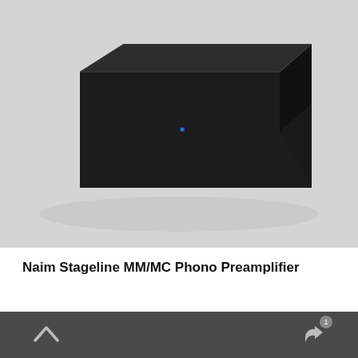[Figure (photo): A black rectangular Naim Stageline MM/MC Phono Preamplifier unit photographed from a slightly elevated angle against a light grey background. The device is a wide, flat box shape with matte black finish and a small blue indicator light on the front face.]
Naim Stageline MM/MC Phono Preamplifier
^ (up arrow) | share icon with badge 1